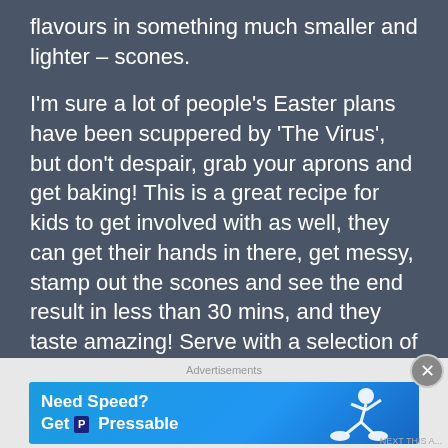flavours in something much smaller and lighter – scones.
I'm sure a lot of people's Easter plans have been scuppered by 'The Virus', but don't despair, grab your aprons and get baking! This is a great recipe for kids to get involved with as well, they can get their hands in there, get messy, stamp out the scones and see the end result in less than 30 mins, and they taste amazing! Serve with a selection of jams and a pot of tea – yum!
[Figure (other): Advertisement banner: 'Need Speed? Get Pressable' with blue background and figure of person running/leaping]